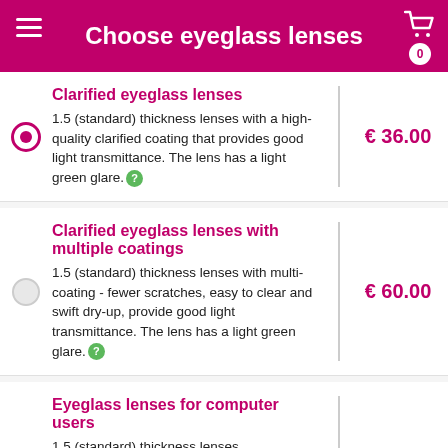Choose eyeglass lenses
Clarified eyeglass lenses
1.5 (standard) thickness lenses with a high-quality clarified coating that provides good light transmittance. The lens has a light green glare.
€ 36.00
Clarified eyeglass lenses with multiple coatings
1.5 (standard) thickness lenses with multi-coating - fewer scratches, easy to clear and swift dry-up, provide good light transmittance. The lens has a light green glare.
€ 60.00
Eyeglass lenses for computer users
1.5 (standard) thickness lenses